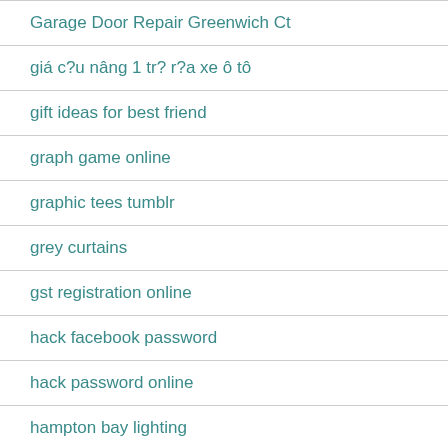Garage Door Repair Greenwich Ct
giá c?u nâng 1 tr? r?a xe ô tô
gift ideas for best friend
graph game online
graphic tees tumblr
grey curtains
gst registration online
hack facebook password
hack password online
hampton bay lighting